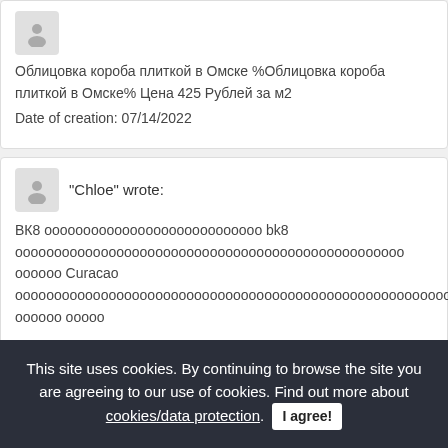Облицовка короба плиткой в Омске %Облицовка короба плиткой в Омске% Цена 425 Рублей за м2
Date of creation: 07/14/2022
"Chloe" wrote:
ВК8 ооооооооооооооооооооооооооооо bk8 оооооооооооооооооооооооооооооооооооооооооооооооооо оооооо Curacao оооооооооооооооооооооооооооооооооооооооооооооооооооооооо оооооо оооо ооооооооооо оооооооооооооооооооооооооооооооооооооооооооооооооооооооооооо ооооооооооооооооооооооо оооооооооооооооооооооооооооооооооооооооооооооооооооооооооо оооооооооооооооо оооооооооооооооооооооооооооооооооооооооооооооооооооооооооооо ооооооооооооооооо оооооо ооооооо ооооооооооооооооо I constantly spent my half to read this website's articles or reviews all the time along with a mug of coffee.
This site uses cookies. By continuing to browse the site you are agreeing to our use of cookies. Find out more about cookies/data protection. I agree!